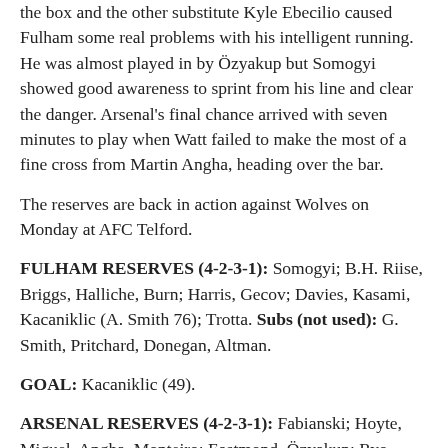the box and the other substitute Kyle Ebecilio caused Fulham some real problems with his intelligent running. He was almost played in by Özyakup but Somogyi showed good awareness to sprint from his line and clear the danger. Arsenal's final chance arrived with seven minutes to play when Watt failed to make the most of a fine cross from Martin Angha, heading over the bar.
The reserves are back in action against Wolves on Monday at AFC Telford.
FULHAM RESERVES (4-2-3-1): Somogyi; B.H. Riise, Briggs, Halliche, Burn; Harris, Gecov; Davies, Kasami, Kacaniklic (A. Smith 76); Trotta. Subs (not used): G. Smith, Pritchard, Donegan, Altman.
GOAL: Kacaniklic (49).
ARSENAL RESERVES (4-2-3-1): Fabianski; Hoyte, Miguel, Angha, Monteiro; Eastmond, Özyakup; Ryo